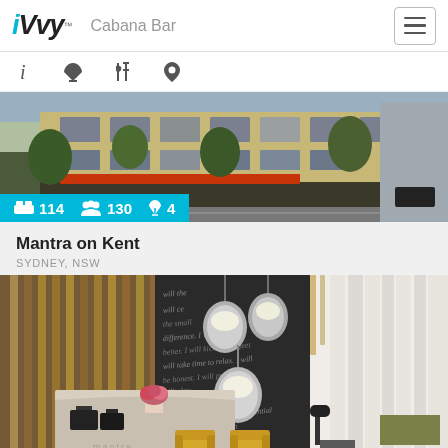iVvy™  Cabana Bar
[Figure (screenshot): Navigation icon bar with info, cocktail glass, fork/knife, and map pin icons]
[Figure (photo): Exterior street view photo of Cabana Bar building with trees and urban setting. Stats overlay shows bed icon 114, people icon 130, cocktail glass icon 4]
Mantra on Kent
SYDNEY, NSW
[Figure (photo): Interior photo of Mantra on Kent hotel lobby featuring wooden slat walls/ceiling, hanging pendant lights, reception desk with floral arrangement, yellow chairs, and a wall with inspirational handwritten text]